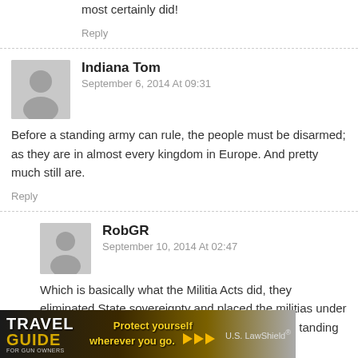most certainly did!
Reply
Indiana Tom
September 6, 2014 At 09:31
Before a standing army can rule, the people must be disarmed; as they are in almost every kingdom in Europe. And pretty much still are.
Reply
RobGR
September 10, 2014 At 02:47
Which is basically what the Militia Acts did, they eliminated State sovereignty and placed the militias under the control of the centralized standing ...organize and
[Figure (photo): Travel Guide for Gun Owners advertisement banner with text 'Protect yourself wherever you go.' and US LawShield logo]